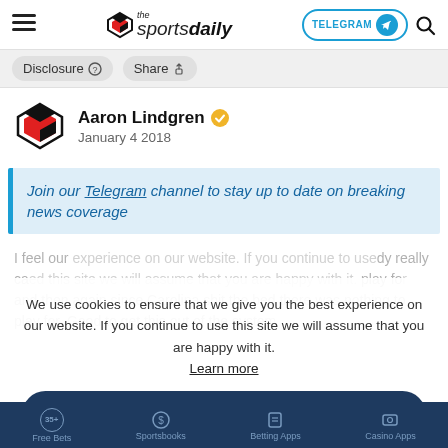the sportsdaily — TELEGRAM — Search
Disclosure   Share
Aaron Lindgren
January 4 2018
Join our Telegram channel to stay up to date on breaking news coverage
I feel our... and then again since Carolina shit the bed there was nothing to play for. Good to get this out of the system
We use cookies to ensure that we give you the best experience on our website. If you continue to use this site we will assume that you are happy with it. Learn more
Free Bets   Sportsbooks   Betting Apps   Casino Apps